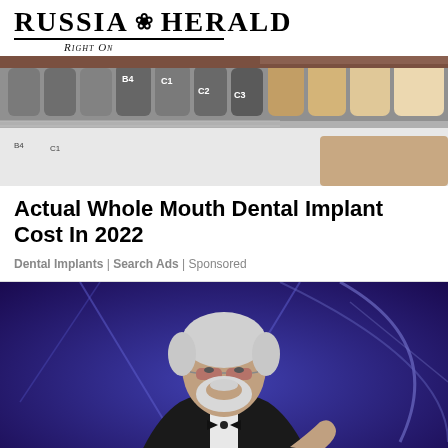RUSSIA HERALD — RIGHT ON
[Figure (photo): Dental shade guide showing tooth color samples labeled B4, C1, C2, C3 with grey metallic and natural tooth-colored samples arranged in rows]
Actual Whole Mouth Dental Implant Cost In 2022
Dental Implants | Search Ads | Sponsored
[Figure (photo): Elderly man with white hair and beard wearing tuxedo with bow tie and tinted glasses, speaking at a podium against a blue/purple background with star decorations]